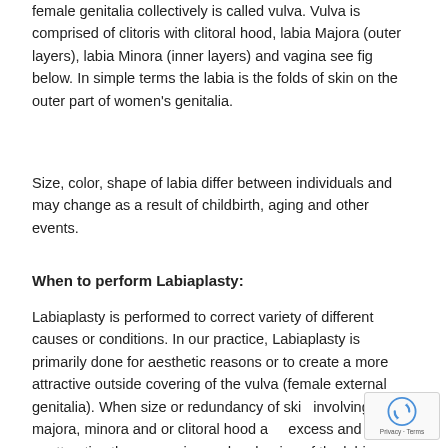female genitalia collectively is called vulva. Vulva is comprised of clitoris with clitoral hood, labia Majora (outer layers), labia Minora (inner layers) and vagina see fig below. In simple terms the labia is the folds of skin on the outer part of women's genitalia.
Size, color, shape of labia differ between individuals and may change as a result of childbirth, aging and other events.
When to perform Labiaplasty:
Labiaplasty is performed to correct variety of different causes or conditions. In our practice, Labiaplasty is primarily done for aesthetic reasons or to create a more attractive outside covering of the vulva (female external genitalia). When size or redundancy of skin involving labia majora, minora and or clitoral hood a excess and or unattractive then removing and reshaping of the labia major, minora and clitoral hood is